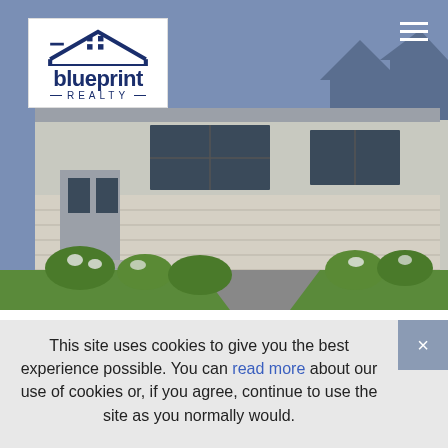[Figure (photo): Exterior rendering of a modern single-story house with brick facade, large windows, landscaping with shrubs, green lawn, and a driveway. Blueprint Realty logo in top-left corner, hamburger menu icon in top-right.]
$1,047,145
6005 Emma Victoria Drive
Franklin, Tennessee
5 Beds   4 Baths   3,643 SqFt   0.340 Acres
This site uses cookies to give you the best experience possible. You can read more about our use of cookies or, if you agree, continue to use the site as you normally would.